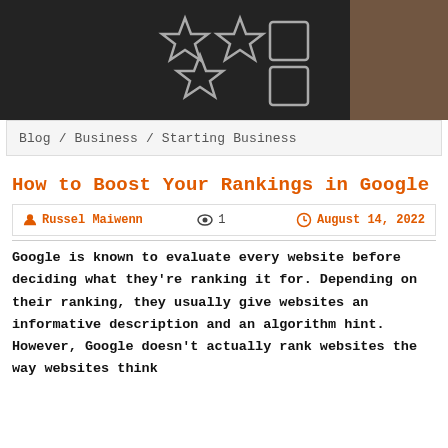[Figure (photo): Dark chalkboard background with star and checkbox rating icons drawn in chalk]
Blog / Business / Starting Business
How to Boost Your Rankings in Google
Russel Maiwenn  1  August 14, 2022
Google is known to evaluate every website before deciding what they're ranking it for. Depending on their ranking, they usually give websites an informative description and an algorithm hint. However, Google doesn't actually rank websites the way websites think